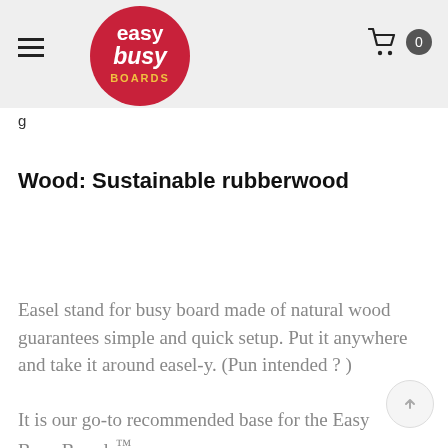easy busy BOARDS [logo] [hamburger menu] [cart: 0]
g
Wood: Sustainable rubberwood
Easel stand for busy board made of natural wood guarantees simple and quick setup. Put it anywhere and take it around easel-y. (Pun intended ? )
It is our go-to recommended base for the Easy Busy Boards™